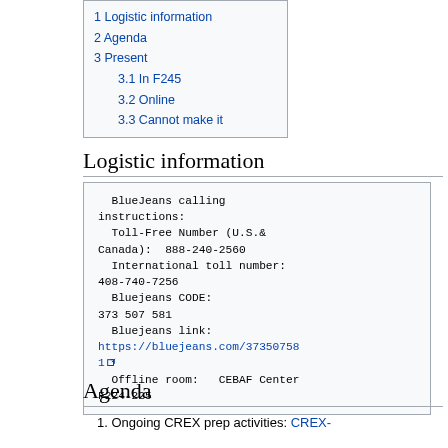1 Logistic information
2 Agenda
3 Present
3.1 In F245
3.2 Online
3.3 Cannot make it
Logistic information
BlueJeans calling instructions:
 Toll-Free Number (U.S.& Canada):  888-240-2560
 International toll number: 408-740-7256
 Bluejeans CODE: 373 507 581
 Bluejeans link: https://bluejeans.com/373507581
 Offline room:   CEBAF Center F224-225
Agenda
1. Ongoing CREX prep activities: CREX-